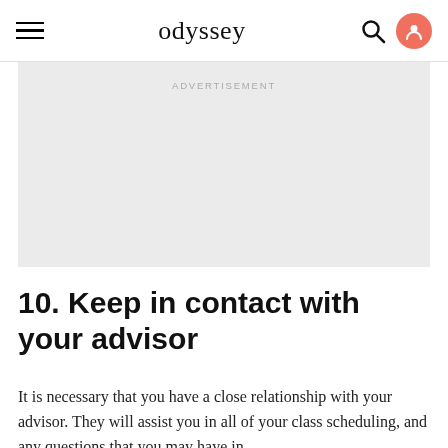odyssey
[Figure (other): Advertisement placeholder block with light grey background and centered ADVERTISEMENT label]
10. Keep in contact with your advisor
It is necessary that you have a close relationship with your advisor. They will assist you in all of your class scheduling, and any questions that you may have in